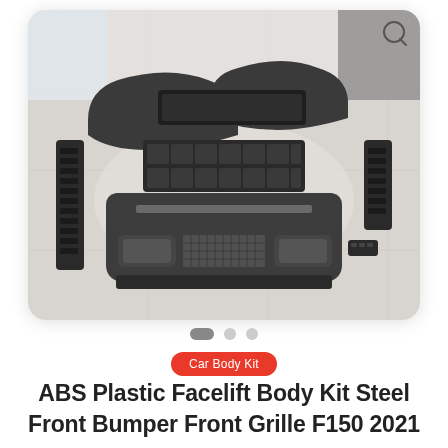[Figure (photo): Product photo of ABS Plastic Facelift Body Kit components laid out on a marble floor, including front bumper, front grille, fender flares, side steps, and other parts for Ford F150 2021, viewed from above in a showroom setting.]
Car Body Kit
ABS Plastic Facelift Body Kit Steel Front Bumper Front Grille F150 2021